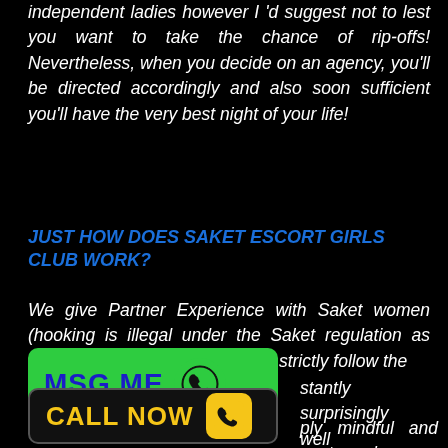independent ladies however I 'd suggest not to lest you want to take the chance of rip-offs! Nevertheless, when you decide on an agency, you'll be directed accordingly and also soon sufficient you'll have the very best night of your life!
JUST HOW DOES SAKET ESCORT GIRLS CLUB WORK?
We give Partner Experience with Saket women (hooking is illegal under the Saket regulation as well as Saket escorts Girls Club strictly follow the
[Figure (infographic): Green MSG ME button with WhatsApp icon]
[Figure (infographic): Black CALL NOW button with yellow phone icon]
stantly surprisingly well
ply mindful and extremely